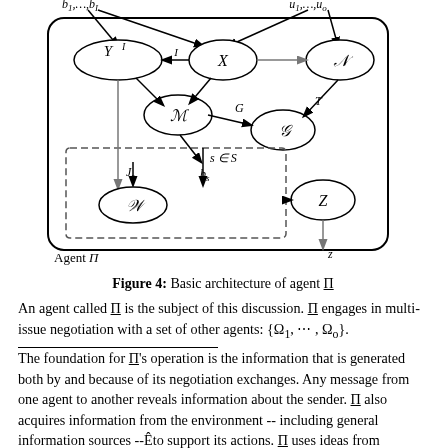[Figure (flowchart): Basic architecture of agent Pi diagram showing nodes Y^I, X, N, M, G (calligraphic), G (plain), W, Z connected by directed arrows, with a dashed box for s in S, labeled inputs b_1...b_I and u_1...u_o, and output z. Agent Pi label at bottom left.]
Figure 4: Basic architecture of agent Pi
An agent called Pi is the subject of this discussion. Pi engages in multi-issue negotiation with a set of other agents: {Omega_1, ..., Omega_o}.
The foundation for Pi's operation is the information that is generated both by and because of its negotiation exchanges. Any message from one agent to another reveals information about the sender. Pi also acquires information from the environment -- including general information sources --Eto support its actions. Pi uses ideas from information theory to process and summarize its